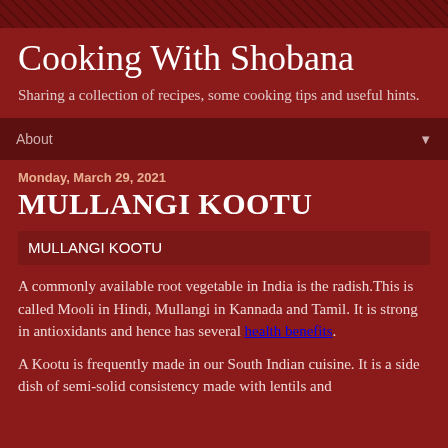Cooking With Shobana
Sharing a collection of recipes, some cooking tips and useful hints.
About
Monday, March 29, 2021
MULLANGI KOOTU
MULLANGI KOOTU
A commonly available root vegetable in India is the radish.This is called Mooli in Hindi, Mullangi in Kannada and Tamil. It is strong in antioxidants and hence has several health benefits.
A Kootu is frequently made in our South Indian cuisine. It is a side dish of semi-solid consistency made with lentils and